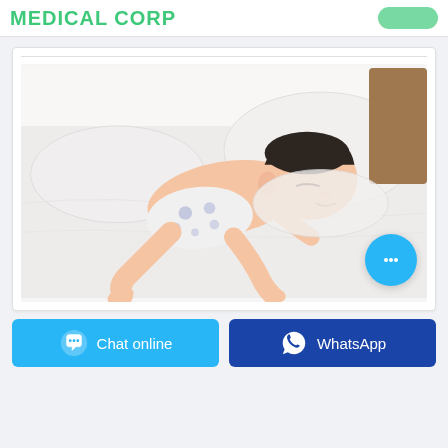MEDICAL CORP
[Figure (photo): A baby/toddler sleeping face-down on a white bed, wearing a white diaper with blue polka dots, no shirt, with dark hair, arms slightly forward. White pillows and bedding visible in background.]
Chat online
WhatsApp